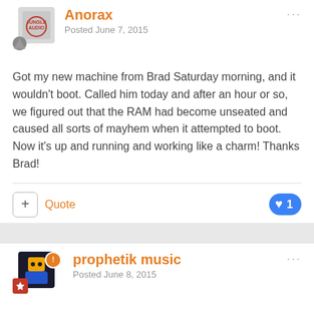Anorax
Posted June 7, 2015
Got my new machine from Brad Saturday morning, and it wouldn't boot. Called him today and after an hour or so, we figured out that the RAM had become unseated and caused all sorts of mayhem when it attempted to boot.  Now it's up and running and working like a charm! Thanks Brad!
Quote
1
prophetik music
Posted June 8, 2015
good to hear all is well. i know at least one other person's system had a similar issue. this took a little more research but we were able to figure it out.
Quote